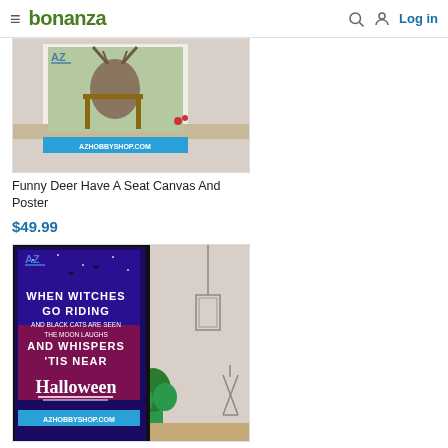bonanza  Log in
[Figure (photo): Product image for Funny Deer Have A Seat Canvas And Poster - shows a poster on a table with AZHOBBYSHOP.COM branding in blue bar]
Funny Deer Have A Seat Canvas And Poster
$49.99
[Figure (photo): Product image of a Halloween poster with purple/dark background showing text: WHEN WITCHES GO RIDING AND BLACK CATS ARE SEEN THE MOON LAUGHS AND WHISPERS 'TIS NEAR Halloween, displayed in a room setting with AZHOBBYSHOP.COM branding]